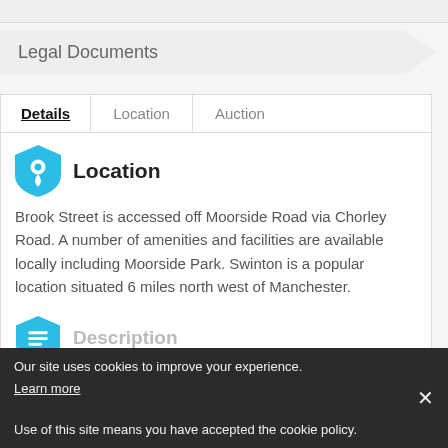Legal Documents
Details | Location | Auction
Location
Brook Street is accessed off Moorside Road via Chorley Road. A number of amenities and facilities are available locally including Moorside Park. Swinton is a popular location situated 6 miles north west of Manchester.
Description
Our site uses cookies to improve your experience. Learn more Use of this site means you have accepted the cookie policy.